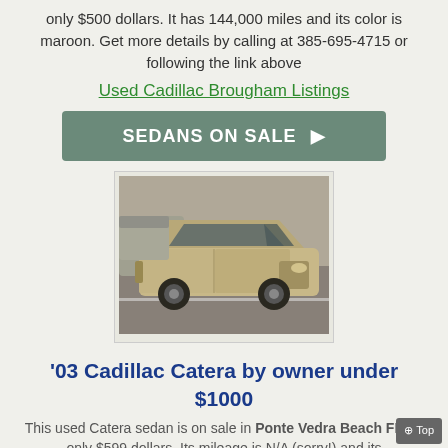only $500 dollars. It has 144,000 miles and its color is maroon. Get more details by calling at 385-695-4715 or following the link above
Used Cadillac Brougham Listings
SEDANS ON SALE ▶
[Figure (photo): Photo of a gold/tan used sedan (Cadillac Catera) parked in a parking lot, front three-quarter view]
'03 Cadillac Catera by owner under $1000
This used Catera sedan is on sale in Ponte Vedra Beach FL for only $599 dollars. Its mileage is N/A (sorry!) and its